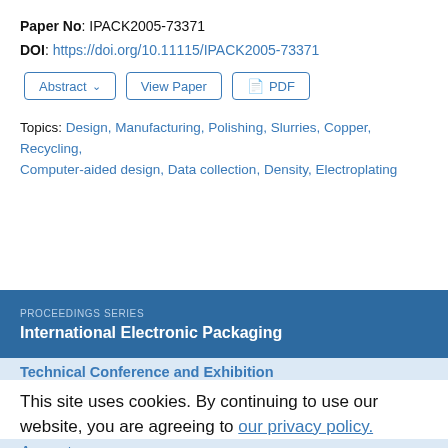Paper No: IPACK2005-73371
DOI: https://doi.org/10.11115/IPACK2005-73371
Abstract  View Paper  PDF
Topics: Design, Manufacturing, Polishing, Slurries, Copper, Recycling, Computer-aided design, Data collection, Density, Electroplating
PROCEEDINGS SERIES
International Electronic Packaging
Technical Conference and Exhibition
This site uses cookies. By continuing to use our website, you are agreeing to our privacy policy.
Accept
Conference Proceedings Author Guidelines